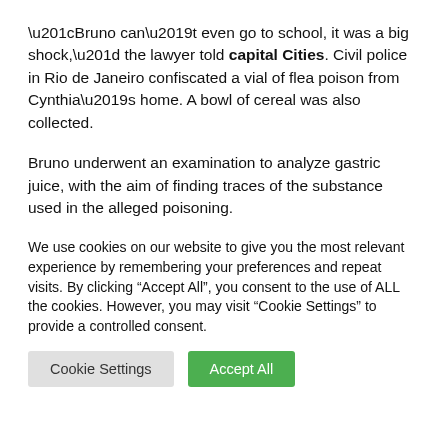“Bruno can’t even go to school, it was a big shock,” the lawyer told capital Cities. Civil police in Rio de Janeiro confiscated a vial of flea poison from Cynthia’s home. A bowl of cereal was also collected.
Bruno underwent an examination to analyze gastric juice, with the aim of finding traces of the substance used in the alleged poisoning.
We use cookies on our website to give you the most relevant experience by remembering your preferences and repeat visits. By clicking “Accept All”, you consent to the use of ALL the cookies. However, you may visit "Cookie Settings" to provide a controlled consent.